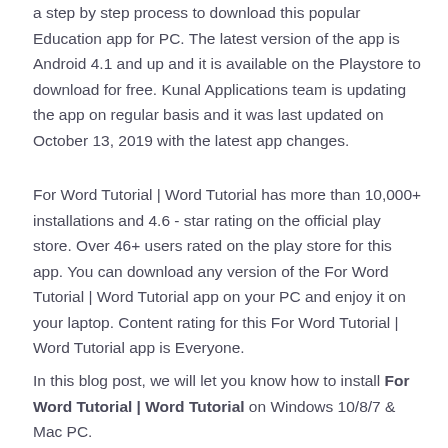a step by step process to download this popular Education app for PC. The latest version of the app is Android 4.1 and up and it is available on the Playstore to download for free. Kunal Applications team is updating the app on regular basis and it was last updated on October 13, 2019 with the latest app changes.
For Word Tutorial | Word Tutorial has more than 10,000+ installations and 4.6 - star rating on the official play store. Over 46+ users rated on the play store for this app. You can download any version of the For Word Tutorial | Word Tutorial app on your PC and enjoy it on your laptop. Content rating for this For Word Tutorial | Word Tutorial app is Everyone.
In this blog post, we will let you know how to install For Word Tutorial | Word Tutorial on Windows 10/8/7 & Mac PC.